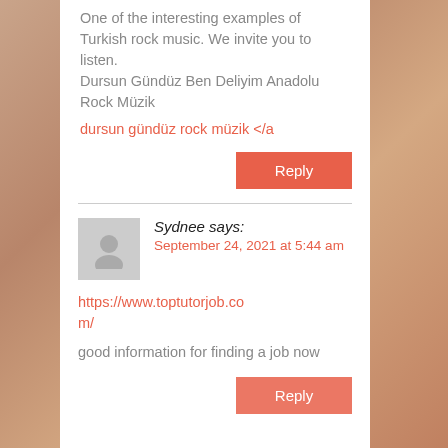One of the interesting examples of Turkish rock music. We invite you to listen.
Dursun Gündüz Ben Deliyim Anadolu Rock Müzik
dursun gündüz rock müzik </a
Reply
Sydnee says:
September 24, 2021 at 5:44 am
https://www.toptutorjob.com/
good information for finding a job now
Reply